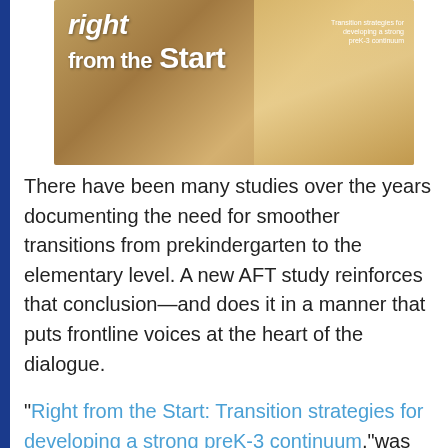[Figure (illustration): Book cover image for 'Right from the Start: Transition strategies for developing a strong preK-3 continuum', showing title text over a warm-toned background with a figure in the background.]
There have been many studies over the years documenting the need for smoother transitions from prekindergarten to the elementary level. A new AFT study reinforces that conclusion—and does it in a manner that puts frontline voices at the heart of the dialogue.
"Right from the Start: Transition strategies for developing a strong preK-3 continuum,"was funded through the Pew Charitable Trusts and highlights many field-tested measures to